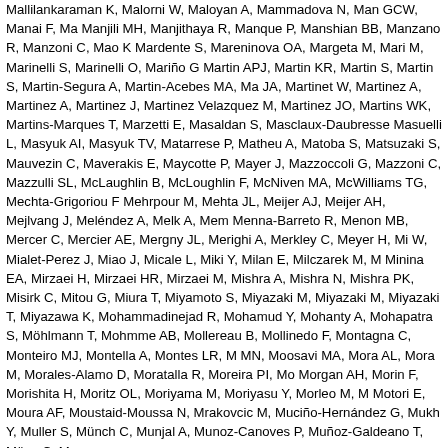Mallilankaraman K, Malorni W, Maloyan A, Mammadova N, Man GCW, Manai F, Ma Manjili MH, Manjithaya R, Manque P, Manshian BB, Manzano R, Manzoni C, Mao K Mardente S, Mareninova OA, Margeta M, Mari M, Marinelli S, Marinelli O, Mariño G Martin APJ, Martin KR, Martin S, Martin S, Martin-Segura A, Martin-Acebes MA, Ma JA, Martinet W, Martinez A, Martinez A, Martinez J, Martinez Velazquez M, Martinez JO, Martins WK, Martins-Marques T, Marzetti E, Masaldan S, Masclaux-Daubresse Masuelli L, Masyuk AI, Masyuk TV, Matarrese P, Matheu A, Matoba S, Matsuzaki S, Mauvezin C, Maverakis E, Maycotte P, Mayer J, Mazzoccoli G, Mazzoni C, Mazzulli SL, McLaughlin B, McLoughlin F, McNiven MA, McWilliams TG, Mechta-Grigoriou F Mehrpour M, Mehta JL, Meijer AJ, Meijer AH, Mejlvang J, Meléndez A, Melk A, Mem Menna-Barreto R, Menon MB, Mercer C, Mercier AE, Mergny JL, Merighi A, Merkley C, Meyer H, Mi W, Mialet-Perez J, Miao J, Micale L, Miki Y, Milan E, Milczarek M, M Minina EA, Mirzaei H, Mirzaei HR, Mirzaei M, Mishra A, Mishra N, Mishra PK, Misirk C, Mitou G, Miura T, Miyamoto S, Miyazaki M, Miyazaki M, Miyazaki T, Miyazawa K, Mohammadinejad R, Mohamud Y, Mohanty A, Mohapatra S, Möhlmann T, Mohmme AB, Mollereau B, Mollinedo F, Montagna C, Monteiro MJ, Montella A, Montes LR, M MN, Moosavi MA, Mora AL, Mora M, Morales-Alamo D, Moratalla R, Moreira PI, Mo Morgan AH, Morin F, Morishita H, Moritz OL, Moriyama M, Moriyasu Y, Morleo M, M Motori E, Moura AF, Moustaid-Moussa N, Mrakovcic M, Muciño-Hernández G, Mukh Y, Muller S, Münch C, Munjal A, Munoz-Canoves P, Muñoz-Galdeano T, Münz C, M